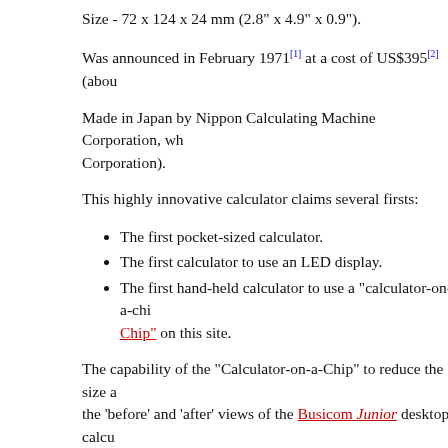Size - 72 x 124 x 24 mm (2.8" x 4.9" x 0.9").
Was announced in February 1971[1] at a cost of US$395[2] (abou
Made in Japan by Nippon Calculating Machine Corporation, wh Corporation).
This highly innovative calculator claims several firsts:
The first pocket-sized calculator.
The first calculator to use an LED display.
The first hand-held calculator to use a "calculator-on-a-chi Chip" on this site.
The capability of the "Calculator-on-a-Chip" to reduce the size a the 'before' and 'after' views of the Busicom Junior desktop calcu
The Busicom Handy LE-120 was the first of a range of similar h 1970s.
The Mostek MK6010L integrated circuit and the LED display we Combined with the high-quality die-cast metal body, the price of Apparently, the most successful sales were to people like Aristot gifts.